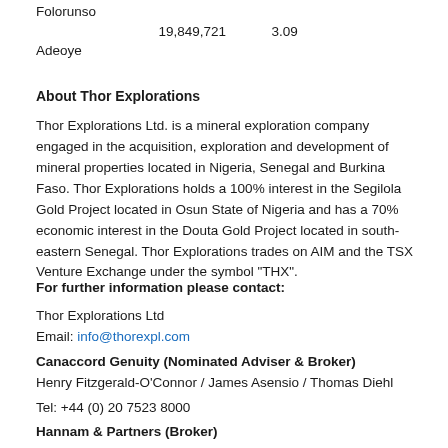Folorunso
Adeoye	19,849,721	3.09
About Thor Explorations
Thor Explorations Ltd. is a mineral exploration company engaged in the acquisition, exploration and development of mineral properties located in Nigeria, Senegal and Burkina Faso. Thor Explorations holds a 100% interest in the Segilola Gold Project located in Osun State of Nigeria and has a 70% economic interest in the Douta Gold Project located in south-eastern Senegal. Thor Explorations trades on AIM and the TSX Venture Exchange under the symbol "THX".
For further information please contact:
Thor Explorations Ltd
Email: info@thorexpl.com
Canaccord Genuity (Nominated Adviser & Broker)
Henry Fitzgerald-O'Connor / James Asensio / Thomas Diehl
Tel: +44 (0) 20 7523 8000
Hannam & Partners (Broker)
Andrew Chubb / Matt Hasson / Nilesh Patel / Franck Nganou